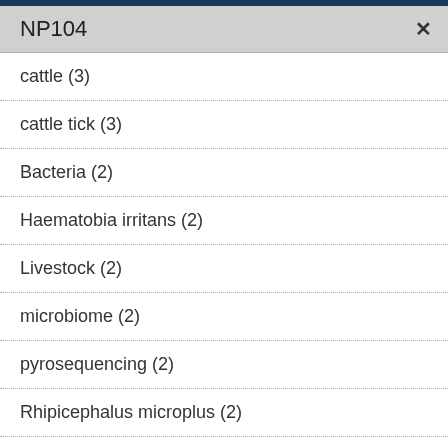NP104
cattle (3)
cattle tick (3)
Bacteria (2)
Haematobia irritans (2)
Livestock (2)
microbiome (2)
pyrosequencing (2)
Rhipicephalus microplus (2)
sequence analysis (2)
blood (1)
Boophilus (1)
Canu assembler (1)